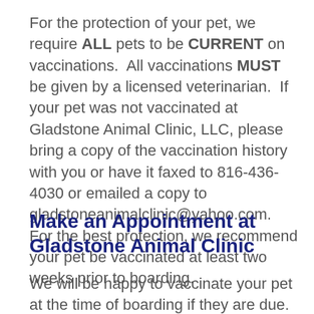For the protection of your pet, we require ALL pets to be CURRENT on vaccinations.  All vaccinations MUST be given by a licensed veterinarian.  If your pet was not vaccinated at Gladstone Animal Clinic, LLC, please bring a copy of the vaccination history with you or have it faxed to 816-436-4030 or emailed a copy to gladstoneanimalclinic@yahoo.com.  For the best protection, we recommend your pet be vaccinated at least two weeks prior to boarding.
Make an Appointment at Gladstone Animal Clinic
We will be happy to vaccinate your pet at the time of boarding if they are due. Call